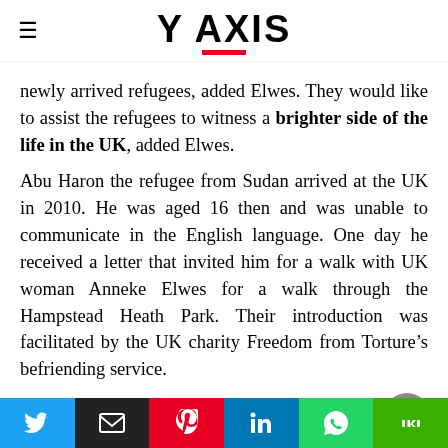Y AXIS
newly arrived refugees, added Elwes. They would like to assist the refugees to witness a brighter side of the life in the UK, added Elwes.
Abu Haron the refugee from Sudan arrived at the UK in 2010. He was aged 16 then and was unable to communicate in the English language. One day he received a letter that invited him for a walk with UK woman Anneke Elwes for a walk through the Hampstead Heath Park. Their introduction was facilitated by the UK charity Freedom from Torture’s befriending service.
Haron said that all the family members of Elwes offered